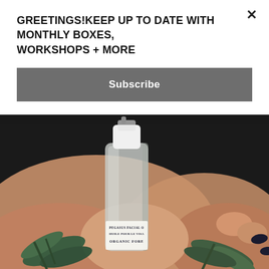GREETINGS!KEEP UP TO DATE WITHMONTHLY BOXES, WORKSHOPS + MORE
Subscribe
[Figure (photo): A person's hands holding a small frosted glass spray bottle with a white pump top. The bottle label reads 'PEGASUS FACIAL OIL, HUILE POUR LE VISAGE, ORGANIC FOREST'. Green botanical sprigs are visible alongside dark-painted fingernails against a dark background.]